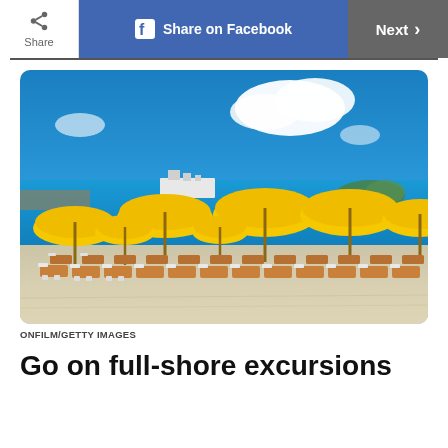Share | Share on Facebook | Next
[Figure (photo): Beach scene with yellow umbrellas and lounge chairs arranged in rows on white sand, with cruise ships visible in a blue harbor and blue sky with white clouds in background.]
ONFILM/GETTY IMAGES
Go on full-shore excursions